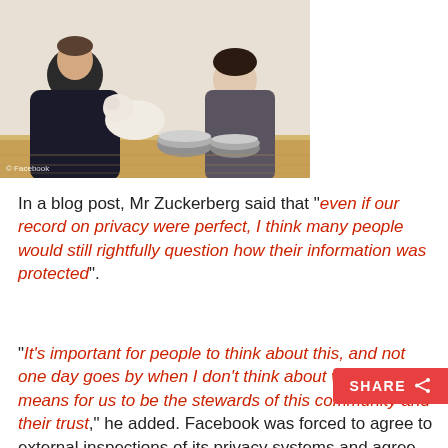[Figure (photo): Photo of Mark Zuckerberg sitting on a wooden floor with a small white fluffy dog/puppy and another person, with metal pet bowls visible on the floor. Watermark reads '© Facebook' in bottom left corner.]
In a blog post, Mr Zuckerberg said that "even if our record on privacy were perfect, I think many people would still rightfully question how their information was protected".
"It's important for people to think about this, and not one day goes by when I don't think about what it means for us to be the stewards of this community and their trust," he added. Facebook was forced to agree to external inspections of its privacy systems and agree to fines of $16,000 per day for new violations. Mr Zucke... pledged to protect users' information "better than any